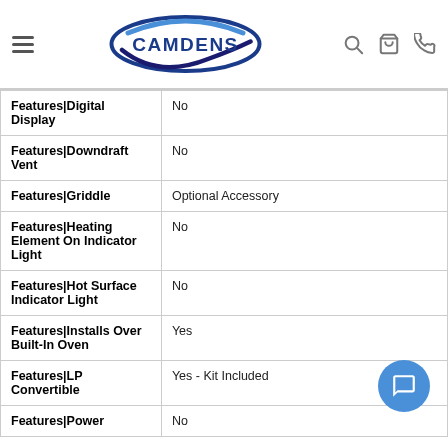Camdens navigation header with logo, search, cart, and phone icons
| Feature | Value |
| --- | --- |
| Features|Digital Display | No |
| Features|Downdraft Vent | No |
| Features|Griddle | Optional Accessory |
| Features|Heating Element On Indicator Light | No |
| Features|Hot Surface Indicator Light | No |
| Features|Installs Over Built-In Oven | Yes |
| Features|LP Convertible | Yes - Kit Included |
| Features|Power | No |